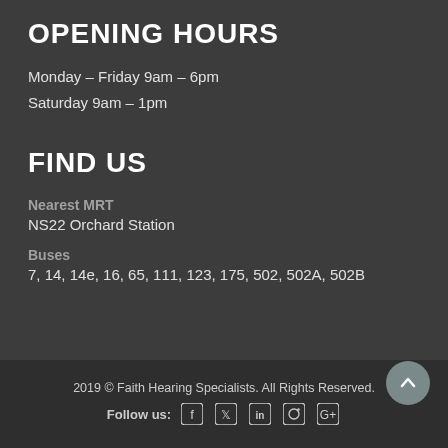OPENING HOURS
Monday – Friday 9am – 6pm
Saturday 9am – 1pm
FIND US
Nearest MRT
NS22 Orchard Station
Buses
7, 14, 14e, 16, 65, 111, 123, 175, 502, 502A, 502B
2019 © Faith Hearing Specialists. All Rights Reserved.
Follow us: [Facebook] [Twitter] [LinkedIn] [Instagram] [Google+]